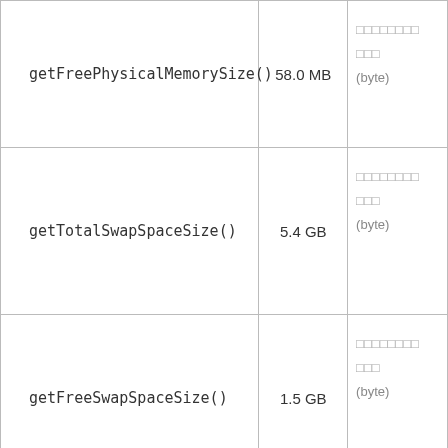| getFreePhysicalMemorySize() | 58.0 MB | □□□□□□□□ □□□ (byte) |
| getTotalSwapSpaceSize() | 5.4 GB | □□□□□□□□ □□□ (byte) |
| getFreeSwapSpaceSize() | 1.5 GB | □□□□□□□□ □□□ (byte) |
| getProcessCpuLoad() | 0.1 | VM□□ □□□ CPU□ ... |